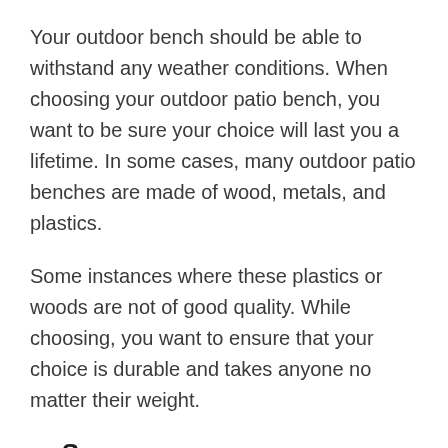Your outdoor bench should be able to withstand any weather conditions. When choosing your outdoor patio bench, you want to be sure your choice will last you a lifetime. In some cases, many outdoor patio benches are made of wood, metals, and plastics.
Some instances where these plastics or woods are not of good quality. While choosing, you want to ensure that your choice is durable and takes anyone no matter their weight.
Space
Space allocated for your patio bench is also a